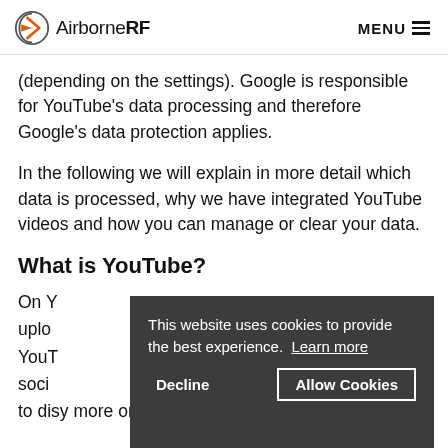AirborneRF  MENU
(depending on the settings). Google is responsible for YouTube’s data processing and therefore Google’s data protection applies.
In the following we will explain in more detail which data is processed, why we have integrated YouTube videos and how you can manage or clear your data.
What is YouTube?
On Y... uplo... YouT... soci... to d... [partially hidden by cookie banner]
This website uses cookies to provide the best experience.  Learn more  Decline  Allow Cookies